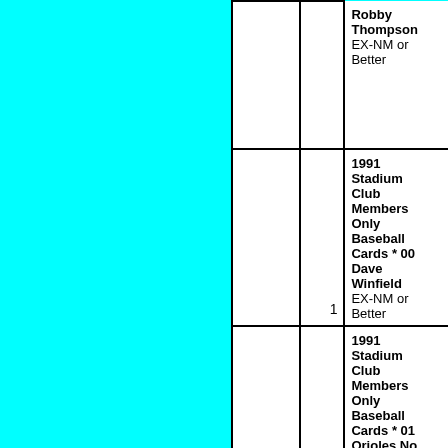|  |  | Qty | Item |
| --- | --- | --- | --- |
|  |  |  | Robby Thompson EX-NM or Better |
|  |  | 1 | 1991 Stadium Club Members Only Baseball Cards * 00 Dave Winfield EX-NM or Better |
|  |  | 1 | 1991 Stadium Club Members Only Baseball Cards * 01 Orioles No Hitter#{Bo Milacki#{Mike Flanagan#{Mar... |